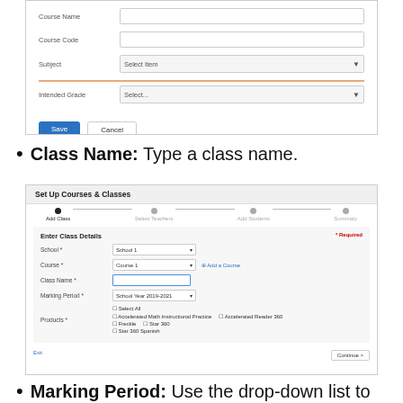[Figure (screenshot): Form screenshot showing Course Code, Subject (Select Item dropdown), Intended Grade (Select... dropdown), Save and Cancel buttons]
Class Name: Type a class name.
[Figure (screenshot): Set Up Courses & Classes wizard screenshot showing Enter Class Details form with School, Course, Class Name (highlighted), Marking Period, and Products fields, with Exit and Continue buttons]
Marking Period: Use the drop-down list to choose the time period during